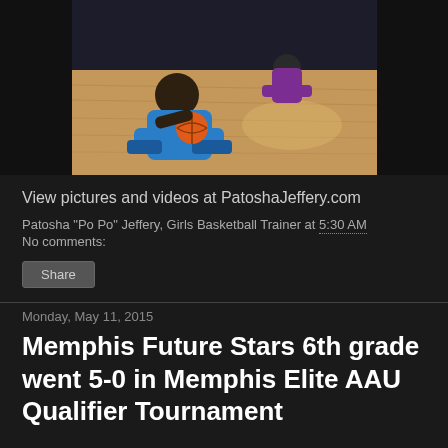[Figure (photo): Girls basketball players sitting on a hardwood court floor during a drill or game, one player in a blue shirt holding a basketball, another player in purple in the background]
View pictures and videos at PatoshaJeffery.com
Patosha "Po Po" Jeffery, Girls Basketball Trainer at 5:30 AM
No comments:
Share
Monday, May 11, 2015
Memphis Future Stars 6th grade went 5-0 in Memphis Elite AAU Qualifier Tournament